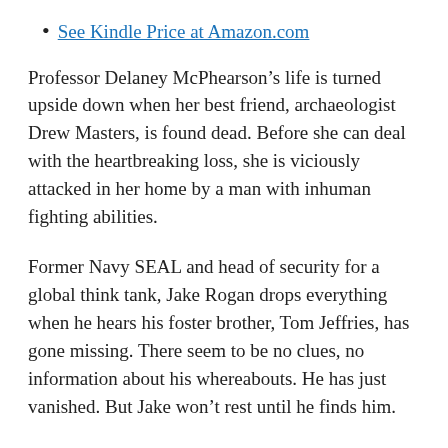See Kindle Price at Amazon.com
Professor Delaney McPhearson’s life is turned upside down when her best friend, archaeologist Drew Masters, is found dead. Before she can deal with the heartbreaking loss, she is viciously attacked in her home by a man with inhuman fighting abilities.
Former Navy SEAL and head of security for a global think tank, Jake Rogan drops everything when he hears his foster brother, Tom Jeffries, has gone missing. There seem to be no clues, no information about his whereabouts. He has just vanished. But Jake won’t rest until he finds him.
Laney and Jake join forces when they learn that the fates